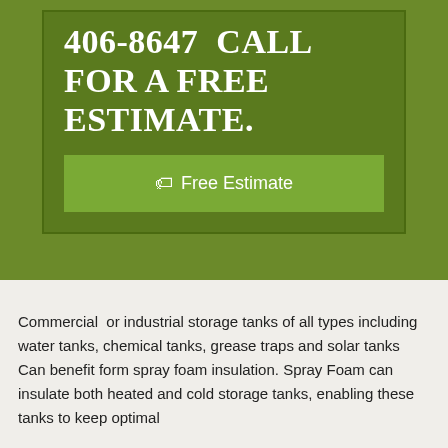406-8647  CALL FOR A FREE ESTIMATE.
Free Estimate
Commercial  or industrial storage tanks of all types including water tanks, chemical tanks, grease traps and solar tanks Can benefit form spray foam insulation. Spray Foam can insulate both heated and cold storage tanks, enabling these tanks to keep optimal